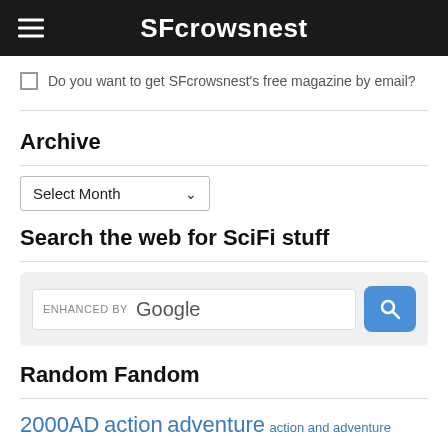SFcrowsnest
Do you want to get SFcrowsnest's free magazine by email?
Archive
Select Month
Search the web for SciFi stuff
[Figure (screenshot): Google custom search box with ENHANCED BY Google label and a blue search button with magnifying glass icon]
Random Fandom
2000AD action adventure action and adventure Adrian Tchaikovsky